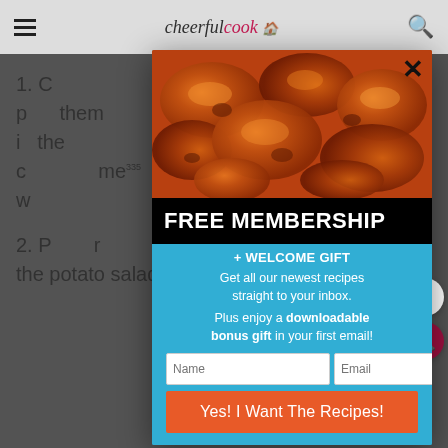cheerfulcook
1. Combine... and p... them i... the c... me... w...
2. P... r... the potato salad mix well.
[Figure (photo): Close-up photo of glazed roasted chicken pieces with dark caramelized sauce]
FREE MEMBERSHIP
+ WELCOME GIFT
Get all our newest recipes straight to your inbox.
Plus enjoy a downloadable bonus gift in your first email!
Name
Email
Yes! I Want The Recipes!